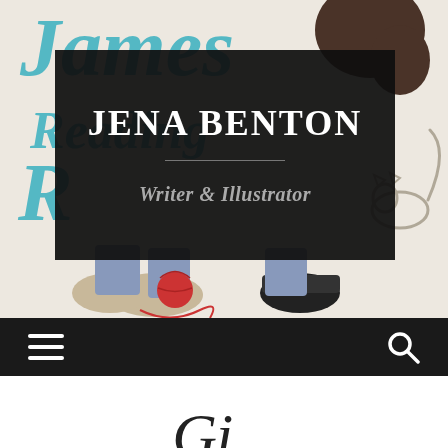[Figure (illustration): Children's book cover illustration showing a child's feet/shoes, a cat, a red yarn ball, and teal lettering reading 'James Reading R...' in the background. Overlaid with a dark semi-transparent card containing the author name and title.]
JENA BENTON
Writer & Illustrator
[Figure (screenshot): Website navigation bar with hamburger menu icon on the left and search icon on the right, dark background.]
Gi...